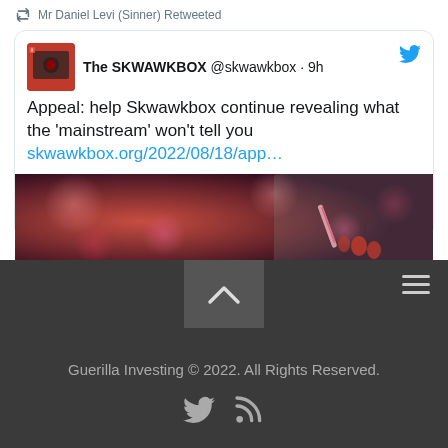Mr Daniel Levi (Sinner) Retweeted
The SKWAWKBOX @skwawkbox · 9h
Appeal: help Skwawkbox continue revealing what the 'mainstream' won't tell you
skwawkbox.org/2022/08/18/app…
[Figure (photo): Tweet image preview showing a blurred red bokeh background with a hand (gloved/grey) holding a pink syringe or medical device near red nails.]
[Figure (screenshot): Dark footer section of a website with hamburger menu icon, scroll-to-top button with chevron, copyright text, and social media icons.]
Guerilla Investing © 2022. All Rights Reserved.